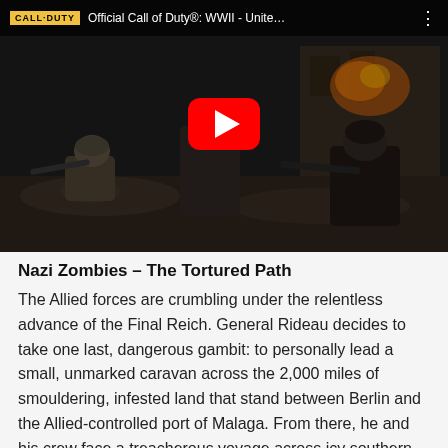[Figure (screenshot): YouTube video thumbnail for 'Official Call of Duty®: WWII - Unite...' showing soldiers in a WWII battle scene with a red YouTube play button in the center. A dark top bar displays the Call of Duty logo, video title, and a three-dot menu icon.]
Nazi Zombies – The Tortured Path
The Allied forces are crumbling under the relentless advance of the Final Reich. General Rideau decides to take one last, dangerous gambit: to personally lead a small, unmarked caravan across the 2,000 miles of smouldering, infested land that stand between Berlin and the Allied-controlled port of Malaga. From there, he and his crew face a treacherous voyage across icy southern waters and U-boat blockades. The mission will be to